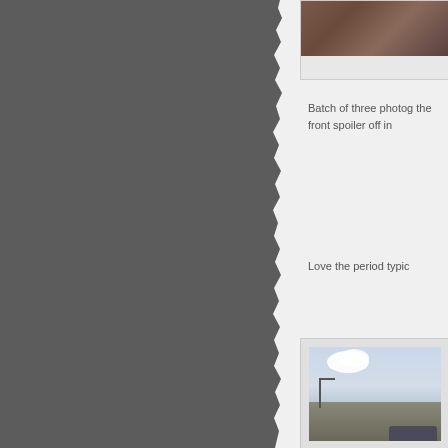[Figure (photo): Partial view of a photograph showing what appears to be a car detail, cropped at top of page]
Batch of three photog the front spoiler off in
Love the period typic
[Figure (photo): Vintage photograph of a car parked outdoors with cloudy sky background and utility pole visible]